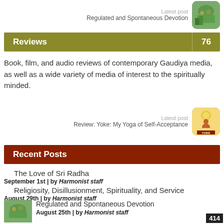Latest post
Regulated and Spontaneous Devotion
[Figure (photo): Thumbnail image for Regulated and Spontaneous Devotion post]
Reviews 76
Book, film, and audio reviews of contemporary Gaudiya media, as well as a wide variety of media of interest to the spiritually minded.
Latest post
Review: Yoke: My Yoga of Self-Acceptance
[Figure (photo): Thumbnail image for Yoke: My Yoga of Self-Acceptance book cover]
Recent Posts
The Love of Sri Radha
September 1st | by Harmonist staff
Religiosity, Disillusionment, Spirituality, and Service
August 29th | by Harmonist staff
[Figure (photo): Thumbnail for Regulated and Spontaneous Devotion post]
Regulated and Spontaneous Devotion
August 25th | by Harmonist staff
414